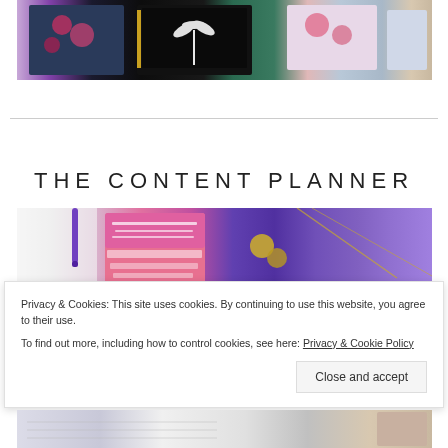[Figure (photo): Top portion of product photo showing colorful spiral-bound planners/notebooks with floral and palm tree designs]
THE CONTENT PLANNER
[Figure (photo): Photo of content planner with purple pen, pink/purple inspirational card with text, gold binder clips, and purple folder on marble surface]
Privacy & Cookies: This site uses cookies. By continuing to use this website, you agree to their use.
To find out more, including how to control cookies, see here: Privacy & Cookie Policy
[Figure (photo): Bottom partial photo of content planner pages/spread]